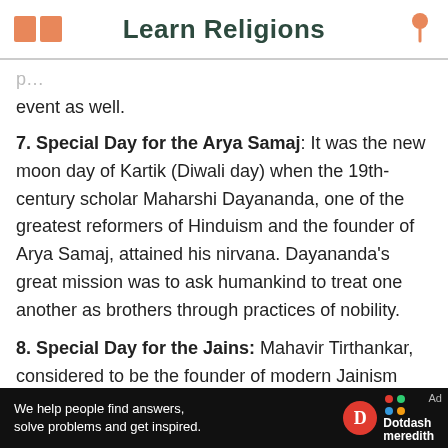Learn Religions
…event as well.
7. Special Day for the Arya Samaj: It was the new moon day of Kartik (Diwali day) when the 19th-century scholar Maharshi Dayananda, one of the greatest reformers of Hinduism and the founder of Arya Samaj, attained his nirvana. Dayananda's great mission was to ask humankind to treat one another as brothers through practices of nobility.
8. Special Day for the Jains: Mahavir Tirthankar, considered to be the founder of modern Jainism also attained his nirvana on Diwali day. Mahavira
[Figure (other): Dotdash Meredith advertisement banner: 'We help people find answers, solve problems and get inspired.']